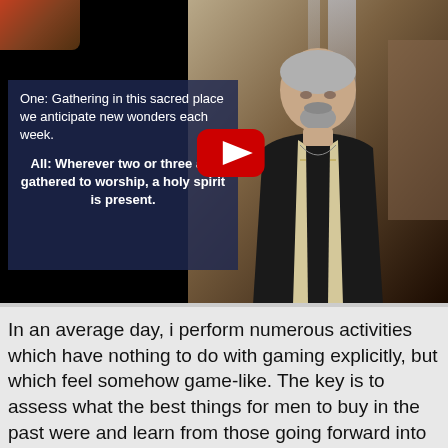[Figure (screenshot): A YouTube video thumbnail showing two panels: left panel with dark blue overlay containing liturgical text ('One: Gathering in this sacred place we anticipate new wonders each week. All: Wherever two or three are gathered to worship, a holy spirit is present.'), and right panel showing a clergyman in black with a white stole standing in what appears to be a church interior. A red YouTube play button is overlaid in the center.]
In an average day, i perform numerous activities which have nothing to do with gaming explicitly, but which feel somehow game-like. The key is to assess what the best things for men to buy in the past were and learn from those going forward into the future. Take a trip back in time to see what life was like when shreveport was young at the spring street historical museums, whose building